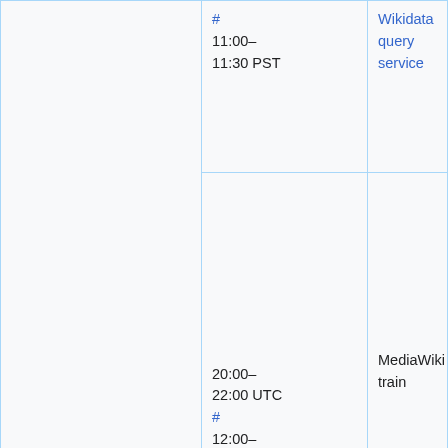|  | # 11:00–11:30 PST | Wikidata query service |
|  | 20:00–22:00 UTC # 12:00–14:00 PST | MediaWiki train |
| Friday, December 16 |  |  |
|  |  |  |